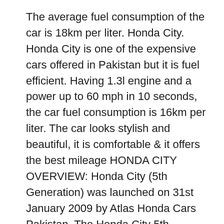The average fuel consumption of the car is 18km per liter. Honda City. Honda City is one of the expensive cars offered in Pakistan but it is fuel efficient. Having 1.3l engine and a power up to 60 mph in 10 seconds, the car fuel consumption is 16km per liter. The car looks stylish and beautiful, it is comfortable & it offers the best mileage HONDA CITY OVERVIEW: Honda City (5th Generation) was launched on 31st January 2009 by Atlas Honda Cars Pakistan. The Honda City 5th Generation is a front engine front wheel drive subcompact sedan with outstanding features and specifications.